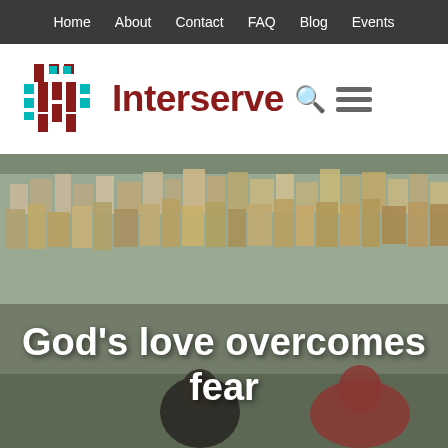Home   About   Contact   FAQ   Blog   Events
[Figure (logo): Interserve logo with geometric cross/grid pattern in dark red and teal, followed by the word Interserve in dark red, a search icon, and a hamburger menu icon]
[Figure (photo): Background photo of a dense Middle Eastern hillside city/town with stone buildings. In the foreground are two people sitting - a man in a dark jacket and a woman in a red hijab. Overlaid text reads: God's love overcomes fear]
God's love overcomes fear